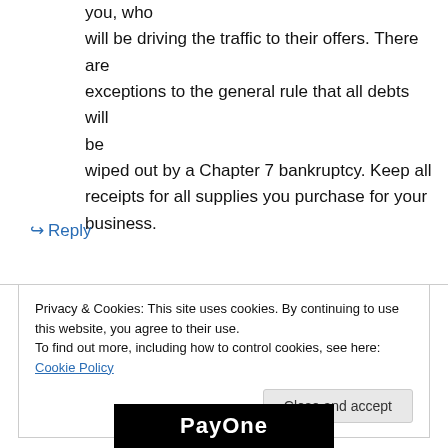you, who will be driving the traffic to their offers. There are exceptions to the general rule that all debts will be wiped out by a Chapter 7 bankruptcy. Keep all receipts for all supplies you purchase for your business.
↪ Reply
Privacy & Cookies: This site uses cookies. By continuing to use this website, you agree to their use. To find out more, including how to control cookies, see here: Cookie Policy
Close and accept
[Figure (logo): PayOne logo on black background, partially visible at bottom of page]